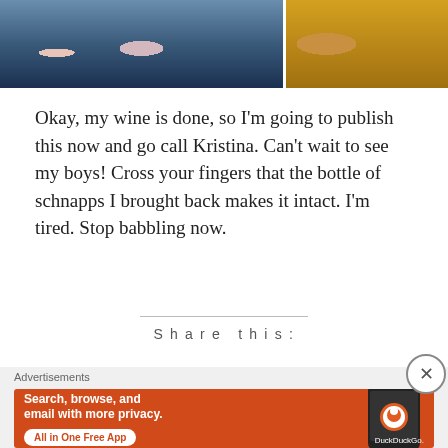[Figure (photo): Top portion of a photo strip showing two photos side by side: left photo shows people at an event with blue lanyards/badges, right photo shows a person in a gold/yellow outfit]
Okay, my wine is done, so I'm going to publish this now and go call Kristina. Can't wait to see my boys! Cross your fingers that the bottle of schnapps I brought back makes it intact. I'm tired. Stop babbling now.
Share this:
[Figure (infographic): DuckDuckGo advertisement banner with orange background. Text reads: Search, browse, and email with more privacy. All in One Free App. Shows a phone with DuckDuckGo logo.]